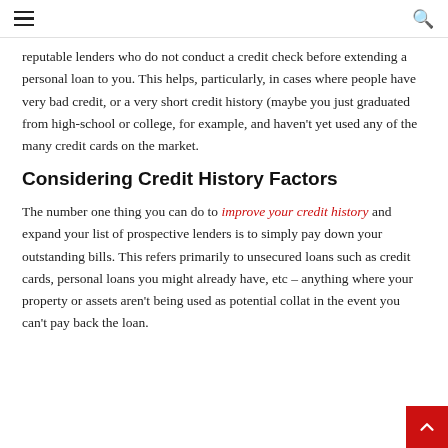≡  🔍
reputable lenders who do not conduct a credit check before extending a personal loan to you. This helps, particularly, in cases where people have very bad credit, or a very short credit history (maybe you just graduated from high-school or college, for example, and haven't yet used any of the many credit cards on the market.
Considering Credit History Factors
The number one thing you can do to improve your credit history and expand your list of prospective lenders is to simply pay down your outstanding bills. This refers primarily to unsecured loans such as credit cards, personal loans you might already have, etc – anything where your property or assets aren't being used as potential collateral in the event you can't pay back the loan.